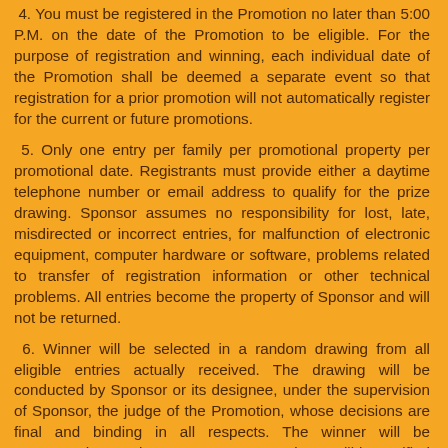4. You must be registered in the Promotion no later than 5:00 P.M. on the date of the Promotion to be eligible. For the purpose of registration and winning, each individual date of the Promotion shall be deemed a separate event so that registration for a prior promotion will not automatically register for the current or future promotions.
5. Only one entry per family per promotional property per promotional date. Registrants must provide either a daytime telephone number or email address to qualify for the prize drawing. Sponsor assumes no responsibility for lost, late, misdirected or incorrect entries, for malfunction of electronic equipment, computer hardware or software, problems related to transfer of registration information or other technical problems. All entries become the property of Sponsor and will not be returned.
6. Winner will be selected in a random drawing from all eligible entries actually received. The drawing will be conducted by Sponsor or its designee, under the supervision of Sponsor, the judge of the Promotion, whose decisions are final and binding in all respects. The winner will be announced at or about 2:30 p.m. EST. Winner will be notified by either telephone number or email address (or both) provided on form by winner. Initial notification will be deemed to have occurred at the time of any one or more of the following: a) 12 hours have passed after initial email transmission and Sponsor has received no delivery failure notification or...